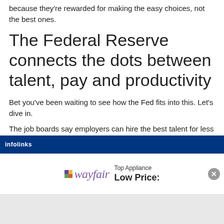because they're rewarded for making the easy choices, not the best ones.
The Federal Reserve connects the dots between talent, pay and productivity
Bet you've been waiting to see how the Fed fits into this. Let's dive in.
The job boards say employers can hire the best talent for less money because their databases are bottomless and the
[Figure (screenshot): Infolinks ad bar with Wayfair advertisement showing 'Top Appliance Low Price:' text and Wayfair logo with colorful star icon, and a close button.]